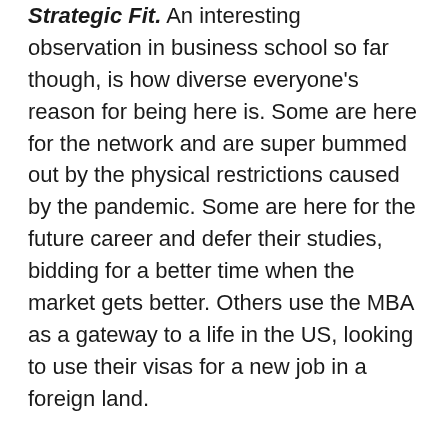Strategic Fit. An interesting observation in business school so far though, is how diverse everyone's reason for being here is. Some are here for the network and are super bummed out by the physical restrictions caused by the pandemic. Some are here for the future career and defer their studies, bidding for a better time when the market gets better. Others use the MBA as a gateway to a life in the US, looking to use their visas for a new job in a foreign land.
Me? I truly want to study. It feels like such an indulgent reason – spending $200K to study – but I truly am interested in the learning and the knowledge. And it has been working out really well so far. Just 4 weeks in and I am already learning so